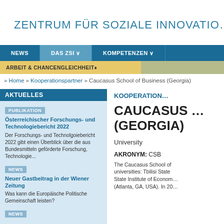[Figure (logo): ZSI Zentrum für Soziale Innovation logo with blue triangular/diamond shape icon]
ZENTRUM FÜR SOZIALE INNOVATIO…
NEWS | DAS ZSI | KOMPETENZEN
ARBEIT & CHANCENGLEICHHEIT
» Home » Kooperationspartner » Caucasus School of Business (Georgia)
AKTUELLES
PUBLIKATION
Österreichischer Forschungs- und Technologiebericht 2022
Der Forschungs- und Technolgoiebericht 2022 gibt einen Überblick über die aus Bundesmitteln geförderte Forschung, Technologie...
NEWS
Neuer Gastbeitrag in der Wiener Zeitung
Was kann die Europäische Politische Gemeinschaft leisten?
NEWS
KOOPERATION…
CAUCASUS … (GEORGIA)
University
AKRONYM: CSB
The Caucasus School of… universities: Tbilisi State… State Institute of Econom… (Atlanta, GA, USA). In 20…